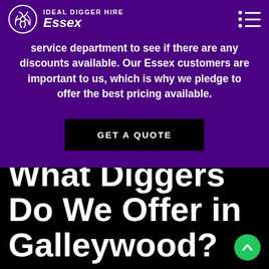IDEAL DIGGER HIRE Essex
service department to see if there are any discounts available. Our Essex customers are important to us, which is why we pledge to offer the best pricing available.
GET A QUOTE
What Diggers Do We Offer in Galleywood?